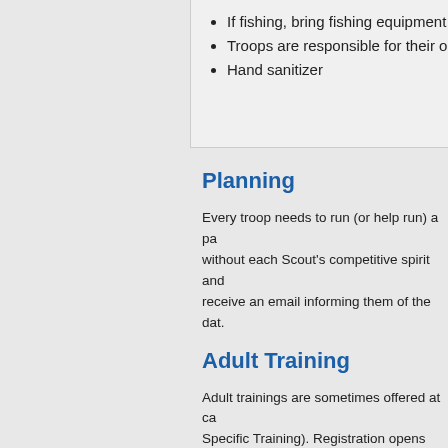If fishing, bring fishing equipment
Troops are responsible for their o
Hand sanitizer
Planning
Every troop needs to run (or help run) a pa without each Scout's competitive spirit and receive an email informing them of the dat.
Adult Training
Adult trainings are sometimes offered at ca Specific Training). Registration opens soon.
Tentative Schedule
Coming Soon!
Photographs